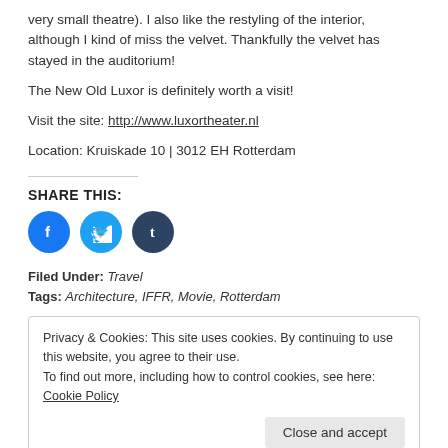very small theatre). I also like the restyling of the interior, although I kind of miss the velvet. Thankfully the velvet has stayed in the auditorium!
The New Old Luxor is definitely worth a visit!
Visit the site: http://www.luxortheater.nl
Location: Kruiskade 10 | 3012 EH Rotterdam
SHARE THIS:
[Figure (other): Social sharing icons: Facebook (blue circle), Twitter (light blue circle), Tumblr (dark blue circle)]
Filed Under: Travel
Tags: Architecture, IFFR, Movie, Rotterdam
Privacy & Cookies: This site uses cookies. By continuing to use this website, you agree to their use.
To find out more, including how to control cookies, see here: Cookie Policy
Close and accept